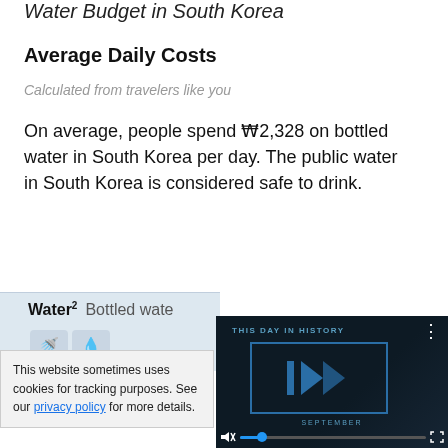Water Budget in South Korea
Average Daily Costs
Calculated from travelers like you
On average, people spend ₩2,328 on bottled water in South Korea per day. The public water in South Korea is considered safe to drink.
| Water² | Bottled wate... |
| --- | --- |
[Figure (screenshot): Video player overlay showing 'THIS DAY IN HISTORY' with play button, progress bar, mute and fullscreen controls, and 'SEPTEMBER' text]
This website sometimes uses cookies for tracking purposes. See our privacy policy for more details.